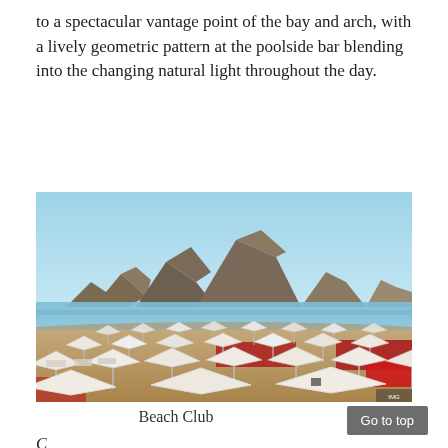to a spectacular vantage point of the bay and arch, with a lively geometric pattern at the poolside bar blending into the changing natural light throughout the day.
[Figure (photo): Beach club scene at Cabo San Lucas bay: rows of white canvas umbrellas and beach chairs with red furnishings on sandy beach, bay water in middle ground, rocky mountains and arch of Cabo in background under clear blue sky.]
Beach Club